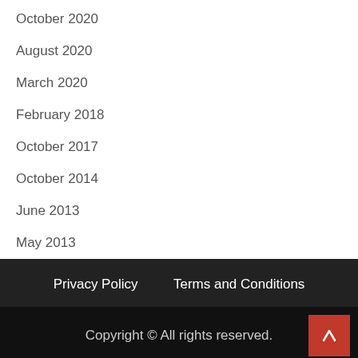October 2020
August 2020
March 2020
February 2018
October 2017
October 2014
June 2013
May 2013
Privacy Policy   Terms and Conditions
Copyright © All rights reserved.